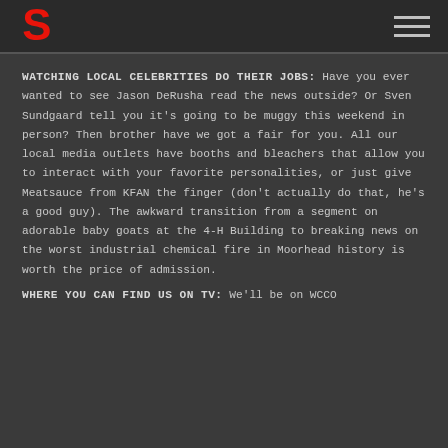S [logo] [hamburger menu]
WATCHING LOCAL CELEBRITIES DO THEIR JOBS: Have you ever wanted to see Jason DeRusha read the news outside? Or Sven Sundgaard tell you it's going to be muggy this weekend in person? Then brother have we got a fair for you. All our local media outlets have booths and bleachers that allow you to interact with your favorite personalities, or just give Meatsauce from KFAN the finger (don't actually do that, he's a good guy). The awkward transition from a segment on adorable baby goats at the 4-H Building to breaking news on the worst industrial chemical fire in Moorhead history is worth the price of admission.
WHERE YOU CAN FIND US ON TV: We'll be on WCCO